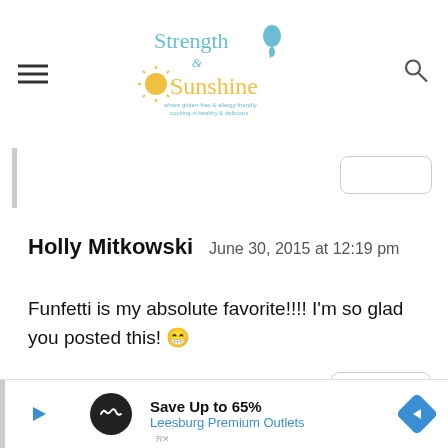[Figure (logo): Strength & Sunshine blog logo with balloon and sun illustration, tagline: where gluten-free & allergy friendly cooking is healthy & delicious]
Holly Mitkowski   June 30, 2015 at 12:19 pm
Funfetti is my absolute favorite!!!! I'm so glad you posted this! 😁
[Figure (screenshot): REPLY button with rounded rectangle border]
[Figure (screenshot): Advertisement: Save Up to 65% Leesburg Premium Outlets]